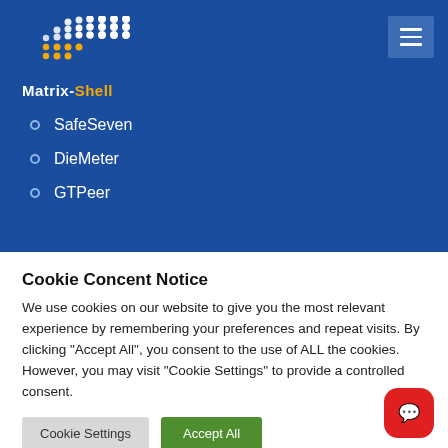[Figure (logo): Matrix-Shell logo with white and yellow dots arranged in a grid pattern above styled text 'Matrix-Shell']
SafeSeven
DieMeter
GTPeer
General
Cookie Concent Notice
We use cookies on our website to give you the most relevant experience by remembering your preferences and repeat visits. By clicking "Accept All", you consent to the use of ALL the cookies. However, you may visit "Cookie Settings" to provide a controlled consent.
Cookie Settings | Accept All